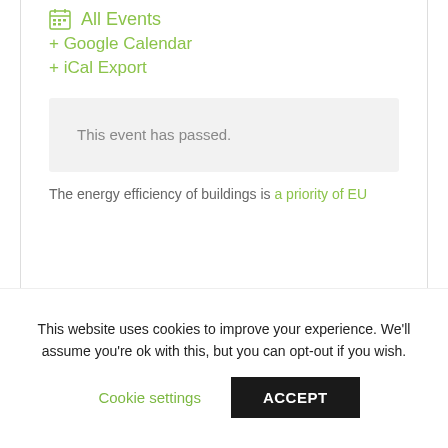All Events
+ Google Calendar
+ iCal Export
This event has passed.
The energy efficiency of buildings is a priority of EU
This website uses cookies to improve your experience. We'll assume you're ok with this, but you can opt-out if you wish.
Cookie settings
ACCEPT